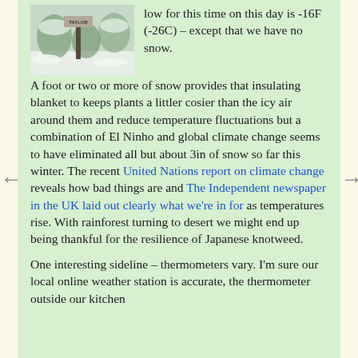[Figure (photo): A snowy outdoor scene with a sign post reading 'TAYLOR' and snow-covered ground and trees in the background.]
low for this time on this day is -16F (-26C) – except that we have no snow.
A foot or two or more of snow provides that insulating blanket to keeps plants a littler cosier than the icy air around them and reduce temperature fluctuations but a combination of El Ninho and global climate change seems to have eliminated all but about 3in of snow so far this winter. The recent United Nations report on climate change reveals how bad things are and The Independent newspaper in the UK laid out clearly what we're in for as temperatures rise. With rainforest turning to desert we might end up being thankful for the resilience of Japanese knotweed.
One interesting sideline – thermometers vary. I'm sure our local online weather station is accurate, the thermometer outside our kitchen